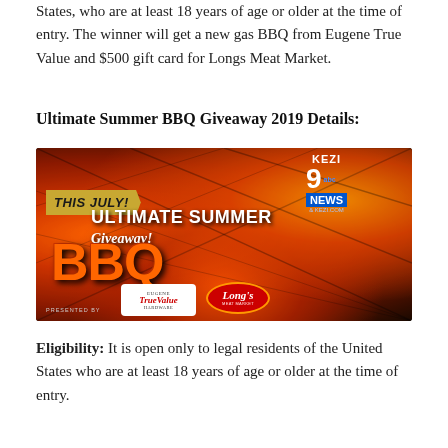States, who are at least 18 years of age or older at the time of entry. The winner will get a new gas BBQ from Eugene True Value and $500 gift card for Longs Meat Market.
Ultimate Summer BBQ Giveaway 2019 Details:
[Figure (photo): Promotional banner for 'Ultimate Summer BBQ Giveaway!' presented by KEZI 9 ABC News and kezi.com. Text reads 'THIS JULY! ULTIMATE SUMMER BBQ Giveaway!' on a fiery orange background. Logos for Eugene True Value Hardware and Long's Meat Market are shown at the bottom.]
Eligibility: It is open only to legal residents of the United States who are at least 18 years of age or older at the time of entry.